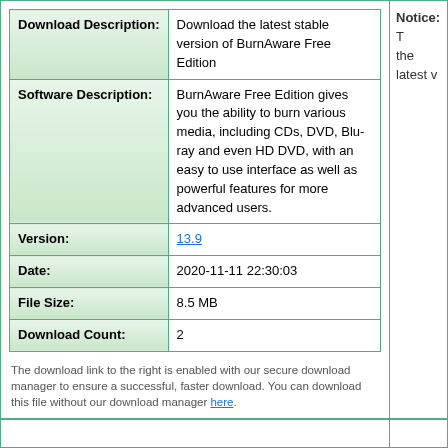| Field | Value |
| --- | --- |
| Download Description: | Download the latest stable version of BurnAware Free Edition |
| Software Description: | BurnAware Free Edition gives you the ability to burn various media, including CDs, DVD, Blu-ray and even HD DVD, with an easy to use interface as well as powerful features for more advanced users. |
| Version: | 13.9 |
| Date: | 2020-11-11 22:30:03 |
| File Size: | 8.5 MB |
| Download Count: | 2 |
The download link to the right is enabled with our secure download manager to ensure a successful, faster download. You can download this file without our download manager here.
Notice: T the latest v